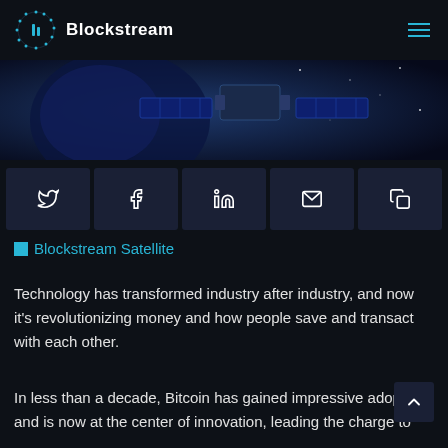Blockstream
[Figure (photo): Satellite in space with Earth visible in background, dark background with stars]
[Figure (infographic): Social sharing buttons row: Twitter, Facebook, LinkedIn, Email, Copy link]
Blockstream Satellite
Technology has transformed industry after industry, and now it's revolutionizing money and how people save and transact with each other.
In less than a decade, Bitcoin has gained impressive adoption and is now at the center of innovation, leading the charge to